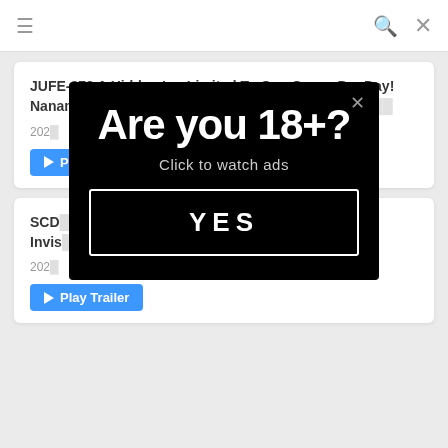≡  🔍  ✕
JUFE-379 A Hidden Inn Limited To One Group Per Day! Nanami Matsumoto, The Best Ejaculation Inn Whe...
202...
Play Trailer
[Figure (other): Age verification modal popup on black background. Large bold white text reads 'Are you 18+?' with subtext 'Click to watch ads' and a YES button with white border. A close (×) button appears at the top right of the modal.]
SCD... Of Invis...
202...
Play Trailer